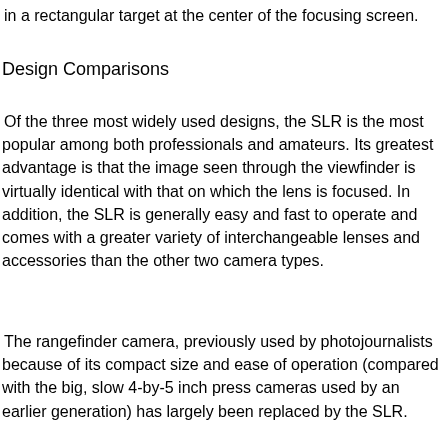in a rectangular target at the center of the focusing screen.
Design Comparisons
Of the three most widely used designs, the SLR is the most popular among both professionals and amateurs. Its greatest advantage is that the image seen through the viewfinder is virtually identical with that on which the lens is focused. In addition, the SLR is generally easy and fast to operate and comes with a greater variety of interchangeable lenses and accessories than the other two camera types.
The rangefinder camera, previously used by photojournalists because of its compact size and ease of operation (compared with the big, slow 4-by-5 inch press cameras used by an earlier generation) has largely been replaced by the SLR.